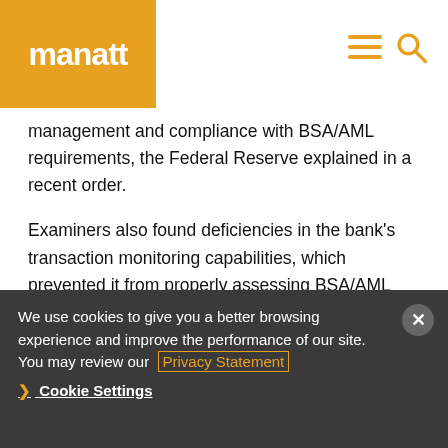manatt
management and compliance with BSA/AML requirements, the Federal Reserve explained in a recent order.
Examiners also found deficiencies in the bank’s transaction monitoring capabilities, which prevented it from properly assessing BSA/AML risk for “billions of dollars in potentially suspicious transactions” processed between 2011 and 2015 for certain bank affiliates in Europe that failed to
We use cookies to give you a better browsing experience and improve the performance of our site. You may review our Privacy Statement
❯ Cookie Settings